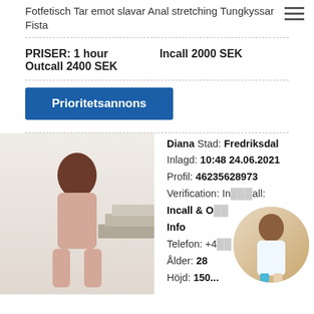Fotfetisch Tar emot slavar Anal stretching Tungkyssar Fista
PRISER: 1 hour   Incall 2000 SEK
Outcall 2400 SEK
Prioritetsannons
[Figure (photo): Woman in pink dress taking mirror selfie]
Diana Stad: Fredriksdal
Inlagd: 10:48 24.06.2021
Profil: 46235628973
Verification: Incall:
Incall & Outcall Info
Telefon: +4...
Ålder: 28
Höjd: 150...